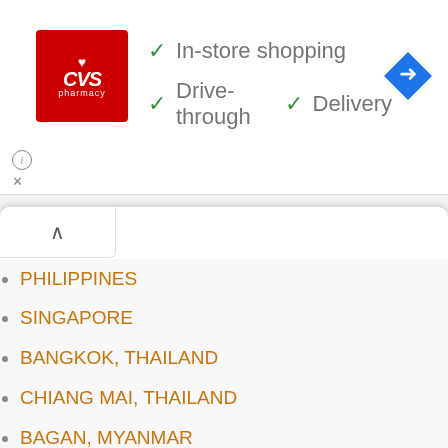[Figure (logo): CVS Pharmacy red logo square with heart and CVS text]
✓ In-store shopping
✓ Drive-through ✓ Delivery
[Figure (illustration): Blue diamond map navigation icon with right-turn arrow]
PHILIPPINES
SINGAPORE
BANGKOK, THAILAND
CHIANG MAI, THAILAND
BAGAN, MYANMAR
YANGON, MYANMAR
LUANG PRABANG, LAOS
SIEM REAP, CAMBODIA
HO CHI MINH, VIETNAM
HANOI, VIETNAM
JAKARTA, INDONESIA
BALI, INDONESIA
YOGYAKARTA, INDONESIA
KUALA LUMPUR, MALAYSIA